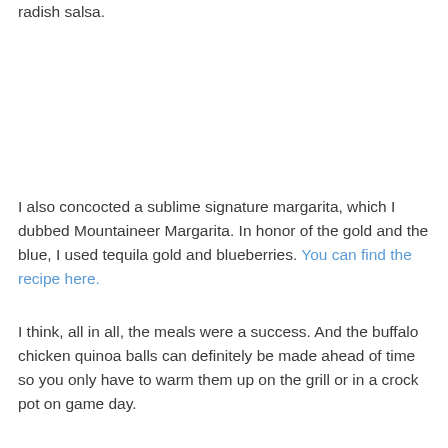radish salsa.
I also concocted a sublime signature margarita, which I dubbed Mountaineer Margarita. In honor of the gold and the blue, I used tequila gold and blueberries. You can find the recipe here.
I think, all in all, the meals were a success. And the buffalo chicken quinoa balls can definitely be made ahead of time so you only have to warm them up on the grill or in a crock pot on game day.